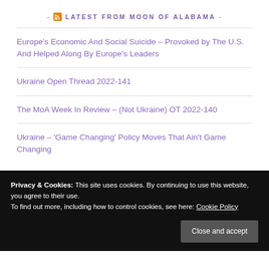- LATEST FROM MOON OF ALABAMA -
Europe's Economic And Social Suicide – Provoked by The U.S. And Helped Along By Europe's Leaders
Ukraine Open Thread 2022-141
The MoA Week In Review – (Not Ukraine) OT 2022-140
Ukraine – 'Game Changing' Policy Moves That Ain't Game Changing
Privacy & Cookies: This site uses cookies. By continuing to use this website, you agree to their use.
To find out more, including how to control cookies, see here: Cookie Policy
Close and accept